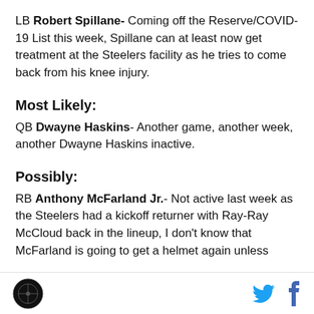LB Robert Spillane- Coming off the Reserve/COVID-19 List this week, Spillane can at least now get treatment at the Steelers facility as he tries to come back from his knee injury.
Most Likely:
QB Dwayne Haskins- Another game, another week, another Dwayne Haskins inactive.
Possibly:
RB Anthony McFarland Jr.- Not active last week as the Steelers had a kickoff returner with Ray-Ray McCloud back in the lineup, I don't know that McFarland is going to get a helmet again unless
Logo and social icons (Twitter, Facebook)